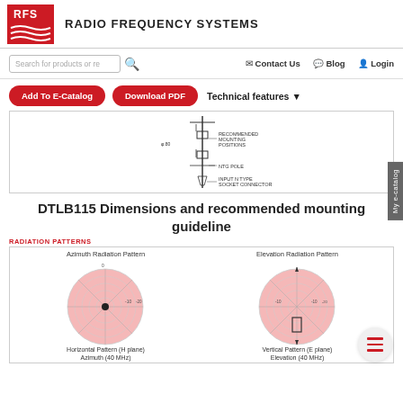[Figure (logo): RFS Radio Frequency Systems logo - red square with RFS text and wave lines, followed by RADIO FREQUENCY SYSTEMS text]
Search for products or re  |  Contact Us  Blog  Login
Add To E-Catalog  Download PDF  Technical features
[Figure (engineering-diagram): Antenna mounting diagram showing recommended mounting positions, NTG pole, and INPUT N TYPE SOCKET CONNECTOR with dimensional annotations]
DTLB115 Dimensions and recommended mounting guideline
RADIATION PATTERNS
[Figure (other): Azimuth Radiation Pattern - circular polar plot with concentric rings in salmon/pink color showing horizontal radiation pattern]
Horizontal Pattern (H plane)
Azimuth (40 MHz)
[Figure (other): Elevation Radiation Pattern - circular polar plot with concentric rings in salmon/pink color showing vertical radiation pattern with antenna element depicted]
Vertical Pattern (E plane)
Elevation (40 MHz)